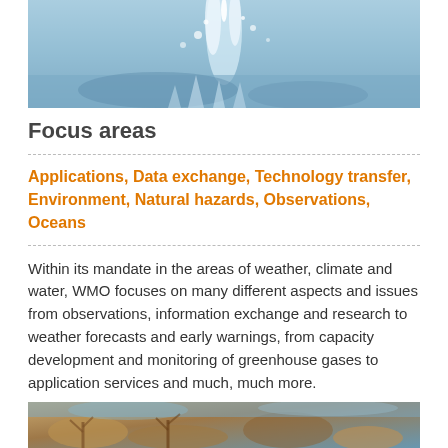[Figure (photo): Close-up photo of water splashing, blue tones with ice/frost effect]
Focus areas
Applications, Data exchange, Technology transfer, Environment, Natural hazards, Observations, Oceans
Within its mandate in the areas of weather, climate and water, WMO focuses on many different aspects and issues from observations, information exchange and research to weather forecasts and early warnings, from capacity development and monitoring of greenhouse gases to application services and much, much more.
[Figure (photo): Close-up photo of coral or natural sea life, warm brown and blue tones]